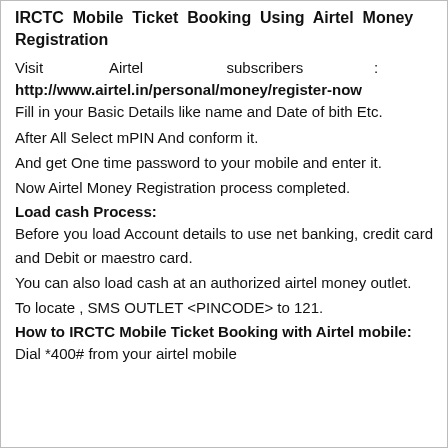IRCTC Mobile Ticket Booking Using Airtel Money Registration
Visit Airtel subscribers :
http://www.airtel.in/personal/money/register-now
Fill in your Basic Details like name and Date of bith Etc.
After All Select mPIN And conform it.
And get One time password to your mobile and enter it.
Now Airtel Money Registration process completed.
Load cash Process:
Before you load Account details to use net banking, credit card and Debit or maestro card.
You can also load cash at an authorized airtel money outlet.
To locate , SMS OUTLET <PINCODE> to 121.
How to IRCTC Mobile Ticket Booking with Airtel mobile:
Dial *400# from your airtel mobile